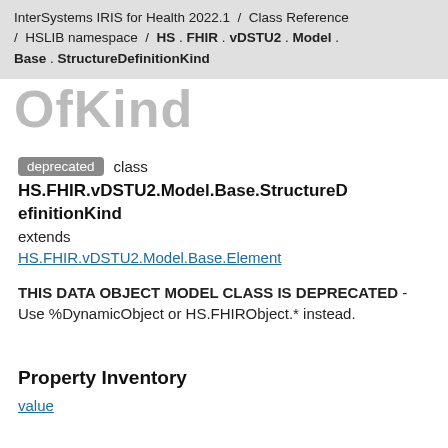InterSystems IRIS for Health 2022.1 / Class Reference / HSLIB namespace / HS . FHIR . vDSTU2 . Model . Base . StructureDefinitionKind
OfKind
deprecated class HS.FHIR.vDSTU2.Model.Base.StructureDefinitionKind extends HS.FHIR.vDSTU2.Model.Base.Element
THIS DATA OBJECT MODEL CLASS IS DEPRECATED - Use %DynamicObject or HS.FHIRObject.* instead.
Property Inventory
value